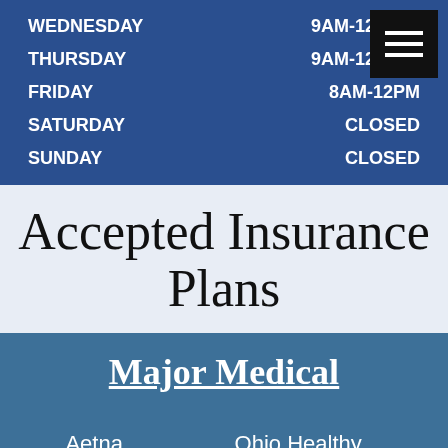| Day | Hours |
| --- | --- |
| WEDNESDAY | 9AM-12PM & ... |
| THURSDAY | 9AM-12PM & ... |
| FRIDAY | 8AM-12PM |
| SATURDAY | CLOSED |
| SUNDAY | CLOSED |
Accepted Insurance Plans
Major Medical
Aetna
Anthem
Ohio Healthy
Ohio PPO Connect